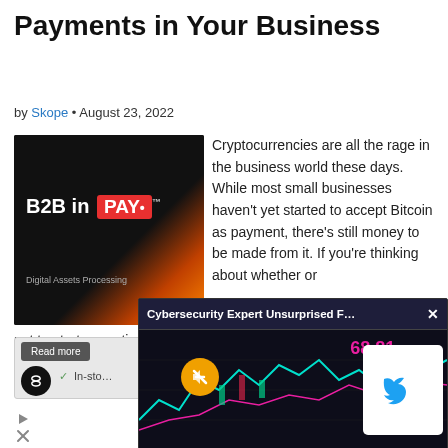Payments in Your Business
by Skope • August 23, 2022
[Figure (logo): B2B in PAY logo — Digital Assets Processing, dark background with orange gradient]
Cryptocurrencies are all the rage in the business world these days. While most small businesses haven't yet started to accept Bitcoin as payment, there's still money to be made from it. If you're thinking about whether or not to start acceptin…
not to start acceptin… In it, we'll explore th…
[Figure (screenshot): Ad overlay: Cybersecurity Expert Unsurprised F... — shows trading chart with price 68.81, mute button, Twitter bird logo card]
[Figure (screenshot): Small ad block with Read more button, logo circle with infinity symbol, checkmark In-sto text]
[Figure (other): Ad icons: play triangle and X symbols]